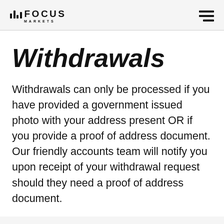Focus Markets
Withdrawals
Withdrawals can only be processed if you have provided a government issued photo with your address present OR if you provide a proof of address document. Our friendly accounts team will notify you upon receipt of your withdrawal request should they need a proof of address document.